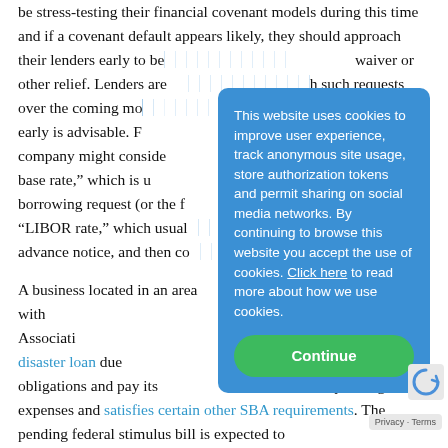be stress-testing their financial covenant models during this time and if a covenant default appears likely, they should approach their lenders early to be[...] waiver or other relief. Lenders are [...] such requests over the coming mo[...] conversation early is advisable. F[...] quickly, a company might conside[...] "alternative base rate," which is u[...] of the borrowing request (or the f[...] lower "LIBOR rate," which usual[...] days' advance notice, and then co[...].
A business located in an area with [...] the U.S. Small Business Associati[...] an economic injury disaster loan due [...] to meet its obligations and pay its [...] operating expenses and satisfies certain other SBA requirements. The pending federal stimulus bill is expected to
[Figure (other): Cookie consent overlay dialog with blue background. Text reads: 'This website uses cookies to improve user experience, track anonymous site usage, store authorization tokens and permit sharing on social media networks. By continuing to browse this website you accept the use of cookies. Click here to read more about how we use cookies.' With a green 'Continue' button.]